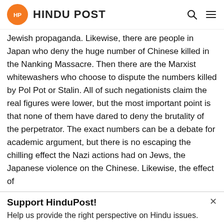HINDU POST
Jewish propaganda. Likewise, there are people in Japan who deny the huge number of Chinese killed in the Nanking Massacre. Then there are the Marxist whitewashers who choose to dispute the numbers killed by Pol Pot or Stalin. All of such negationists claim the real figures were lower, but the most important point is that none of them have dared to deny the brutality of the perpetrator. The exact numbers can be a debate for academic argument, but there is no escaping the chilling effect the Nazi actions had on Jews, the Japanese violence on the Chinese. Likewise, the effect of
Support HinduPost!
Help us provide the right perspective on Hindu issues.
Support HinduPost Operations!